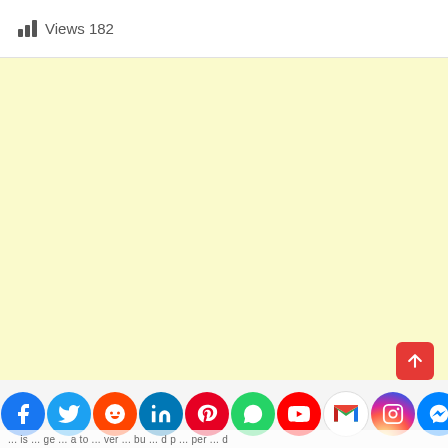Views 182
[Figure (other): Large light yellow advertisement area]
[Figure (infographic): Row of social media sharing icons: Facebook, Twitter, Reddit, LinkedIn, Pinterest, WhatsApp, YouTube, Gmail, Instagram, Messenger, Yahoo]
... is ... ge ... a to ... ver ... bu ... d p ... per ... d